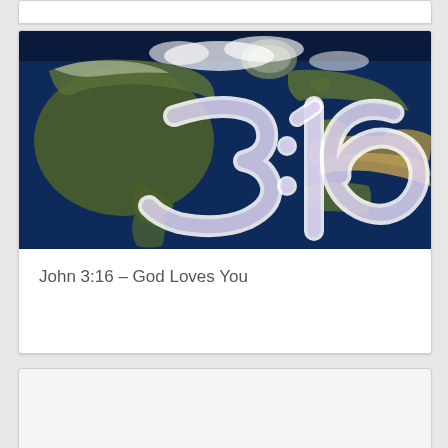[Figure (photo): Satellite/aerial view of the Earth showing continents including North America, Europe, Africa and the Atlantic Ocean, with large stylized text '3:16' overlaid on the globe in white and light purple tones]
John 3:16 – God Loves You